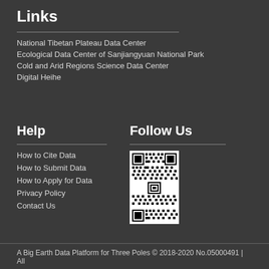Links
National Tibetan Plateau Data Center
Ecological Data Center of Sanjiangyuan National Park
Cold and Arid Regions Science Data Center
Digital Heihe
Help
Follow Us
How to Cite Data
How to Submit Data
How to Apply for Data
Privacy Policy
Contact Us
[Figure (other): QR code image for Follow Us section]
A Big Earth Data Platform for Three Poles © 2018-2020 No.05000491 | All